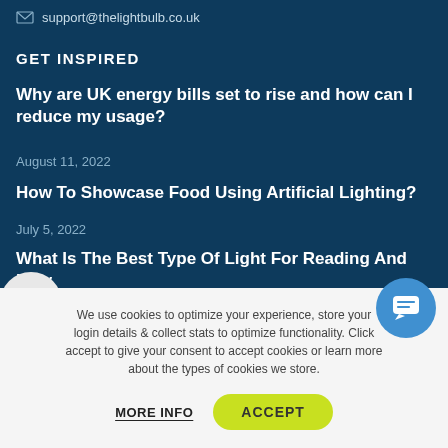support@thelightbulb.co.uk
GET INSPIRED
Why are UK energy bills set to rise and how can I reduce my usage?
August 11, 2022
How To Showcase Food Using Artificial Lighting?
July 5, 2022
What Is The Best Type Of Light For Reading And How
We use cookies to optimize your experience, store your login details & collect stats to optimize functionality. Click accept to give your consent to accept cookies or learn more about the types of cookies we store.
MORE INFO
ACCEPT